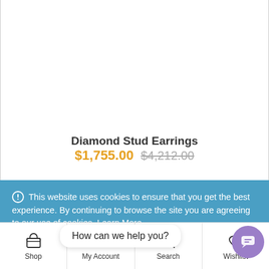Diamond Stud Earrings
$1,755.00  $4,212.00
This website uses cookies to ensure that you get the best experience. By continuing to browse the site you are agreeing to our use of cookies. Learn More
Dismiss
How can we help you?
Shop | My Account | Search | Wishlist